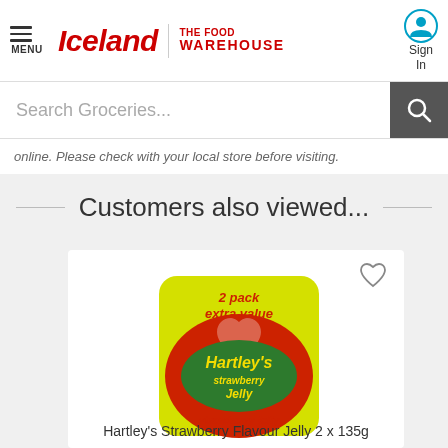Iceland | the food WAREHOUSE
Search Groceries...
online. Please check with your local store before visiting.
Customers also viewed...
[Figure (photo): Hartley's Strawberry Jelly 2 x 135g product package — a yellow and red bag with '2 pack extra value' text, Hartley's brand logo, and 'strawberry jelly' label]
Hartley's Strawberry Flavour Jelly 2 x 135g